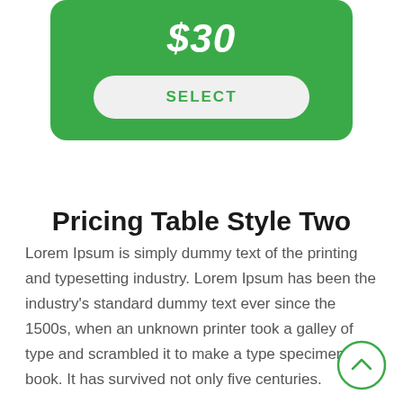$30
SELECT
Pricing Table Style Two
Lorem Ipsum is simply dummy text of the printing and typesetting industry. Lorem Ipsum has been the industry's standard dummy text ever since the 1500s, when an unknown printer took a galley of type and scrambled it to make a type specimen book. It has survived not only five centuries.